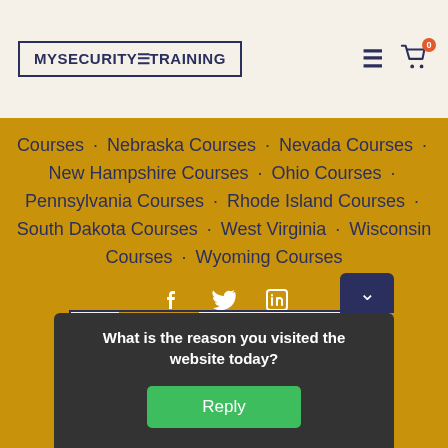[Figure (logo): MySecurityTraining logo in a bordered box]
Courses · Nebraska Courses · Nevada Courses · New Hampshire Courses · Ohio Courses · Pennsylvania Courses · Rhode Island Courses · South Dakota Courses · West Virginia · Wisconsin Courses · Wyoming Courses
[Figure (infographic): Social media icons: Facebook, Twitter, LinkedIn in white on gold background]
[Figure (logo): MySecurityTraining logo bottom partial]
What is the reason you visited the website today?
Reply